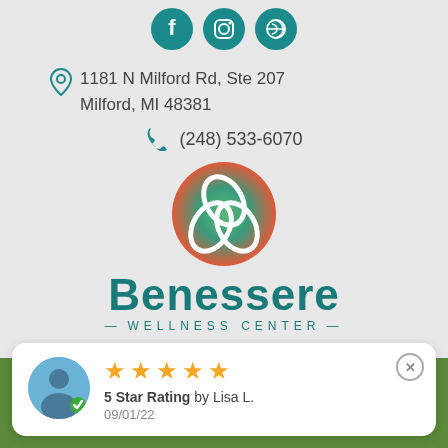[Figure (illustration): Three social media icons: Facebook, Instagram, and another app in teal circle buttons]
1181 N Milford Rd, Ste 207
Milford, MI 48381
(248) 533-6070
[Figure (logo): Benessere Wellness Center logo - circular gradient emblem with intertwined loops in teal, green, and orange-red, with the text Benessere and WELLNESS CENTER below]
[Figure (illustration): Payment methods banner on green background showing VISA, Mastercard, American Express, Discover]
[Figure (illustration): Review card showing 5 star rating by Lisa L. dated 09/01/22 with avatar icon]